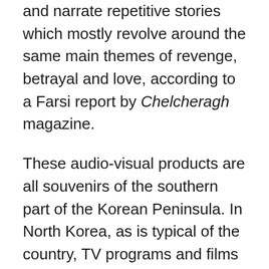and narrate repetitive stories which mostly revolve around the same main themes of revenge, betrayal and love, according to a Farsi report by Chelcheragh magazine.
These audio-visual products are all souvenirs of the southern part of the Korean Peninsula. In North Korea, as is typical of the country, TV programs and films are made behind the closed doors and remain there.
No private company has ever managed to produce even a single film in the country. The country's audio-visual products are all produced